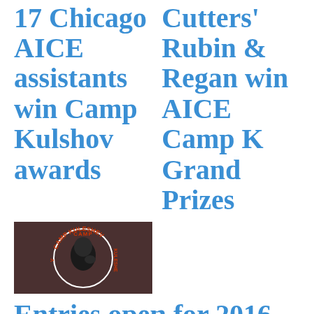17 Chicago AICE assistants win Camp Kulshov awards
Cutters' Rubin & Regan win AICE Camp K Grand Prizes
[Figure (logo): Camp Kuleshev logo: circular badge with a man's face and red text 'Camp Kuleshev' on brown background]
Entries open for 2016 AICE